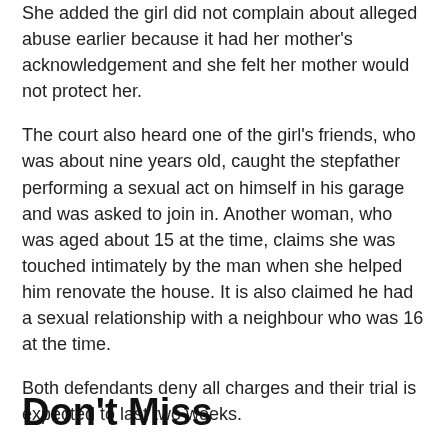She added the girl did not complain about alleged abuse earlier because it had her mother's acknowledgement and she felt her mother would not protect her.
The court also heard one of the girl's friends, who was about nine years old, caught the stepfather performing a sexual act on himself in his garage and was asked to join in. Another woman, who was aged about 15 at the time, claims she was touched intimately by the man when she helped him renovate the house. It is also claimed he had a sexual relationship with a neighbour who was 16 at the time.
Both defendants deny all charges and their trial is expected to last two weeks.
Don't Miss